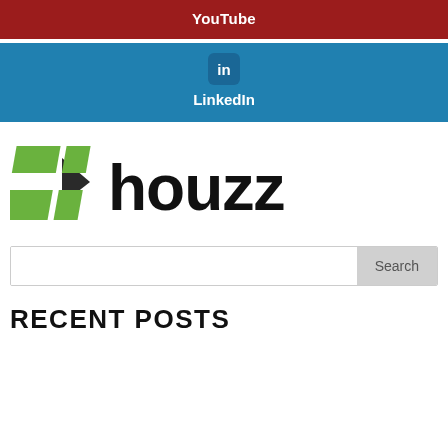[Figure (logo): YouTube social media button bar with dark red background and 'YouTube' text in white bold]
[Figure (logo): LinkedIn social media button bar with blue background, 'in' icon circle, and 'LinkedIn' text in white bold]
[Figure (logo): Houzz logo with green geometric chevron/arrow icon and 'houzz' wordmark in black]
Search
RECENT POSTS